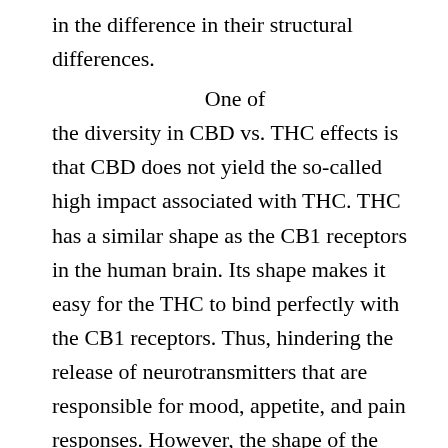in the difference in their structural differences.
One of the diversity in CBD vs. THC effects is that CBD does not yield the so-called high impact associated with THC. THC has a similar shape as the CB1 receptors in the human brain. Its shape makes it easy for the THC to bind perfectly with the CB1 receptors. Thus, hindering the release of neurotransmitters that are responsible for mood, appetite, and pain responses. However, the shape of the CBD does not allow it to bind with the CB1 receptors, thus no high effect. THC causes euphoria and sedation after use.
Side effects of CBD and THC